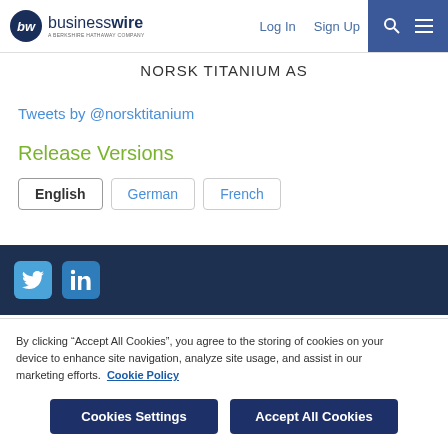businesswire - A BERKSHIRE HATHAWAY COMPANY | Log In | Sign Up
NORSK TITANIUM AS
Tweets by @norsktitanium
Release Versions
English | German | French
[Figure (other): Social media icons: Twitter and LinkedIn in dark blue footer bar]
By clicking "Accept All Cookies", you agree to the storing of cookies on your device to enhance site navigation, analyze site usage, and assist in our marketing efforts. Cookie Policy
Cookies Settings | Accept All Cookies